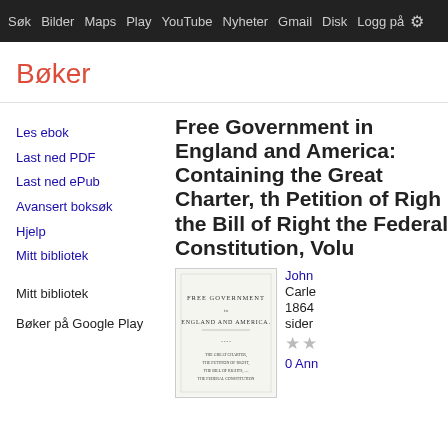Søk Bilder Maps Play YouTube Nyheter Gmail Disk Logg på ⚙
Bøker
Les ebok
Last ned PDF
Last ned ePub
Avansert boksøk
Hjelp
Mitt bibliotek
Mitt bibliotek
Bøker på Google Play
Free Government in England and America: Containing the Great Charter, the Petition of Right, the Bill of Right, the Federal Constitution, Volu...
[Figure (illustration): Book cover thumbnail showing 'FREE GOVERNMENT in ENGLAND AND AMERICA' title page]
John...
Carle...
1864
sider
★★
0 Ann...